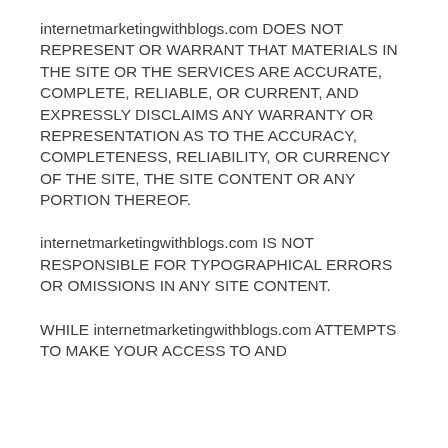internetmarketingwithblogs.com DOES NOT REPRESENT OR WARRANT THAT MATERIALS IN THE SITE OR THE SERVICES ARE ACCURATE, COMPLETE, RELIABLE, OR CURRENT, AND EXPRESSLY DISCLAIMS ANY WARRANTY OR REPRESENTATION AS TO THE ACCURACY, COMPLETENESS, RELIABILITY, OR CURRENCY OF THE SITE, THE SITE CONTENT OR ANY PORTION THEREOF.
internetmarketingwithblogs.com IS NOT RESPONSIBLE FOR TYPOGRAPHICAL ERRORS OR OMISSIONS IN ANY SITE CONTENT.
WHILE internetmarketingwithblogs.com ATTEMPTS TO MAKE YOUR ACCESS TO AND